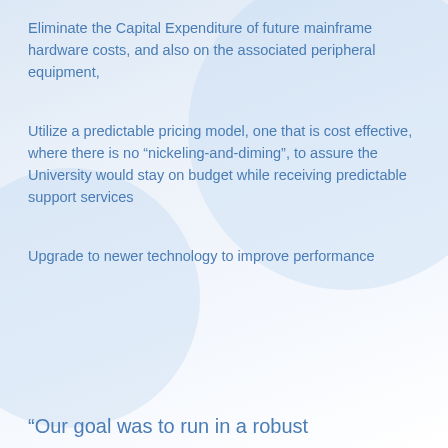Eliminate the Capital Expenditure of future mainframe hardware costs, and also on the associated peripheral equipment,
Utilize a predictable pricing model, one that is cost effective, where there is no “nickeling-and-diming”, to assure the University would stay on budget while receiving predictable support services
Upgrade to newer technology to improve performance
“Our goal was to run in a robust